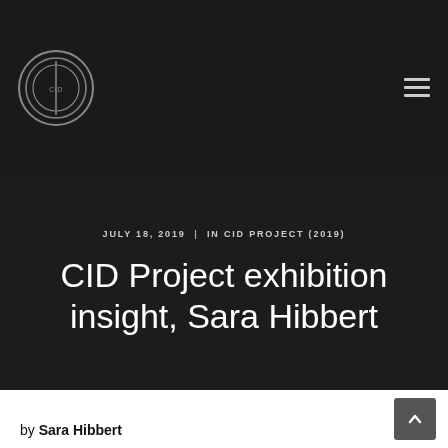CID (logo) | navigation menu
JULY 18, 2019  |  IN CID PROJECT (2019)
CID Project exhibition insight, Sara Hibbert
by Sara Hibbert